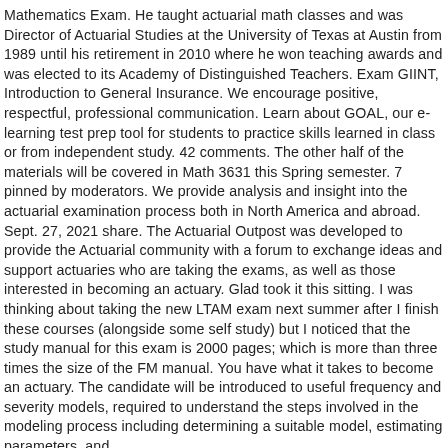Mathematics Exam. He taught actuarial math classes and was Director of Actuarial Studies at the University of Texas at Austin from 1989 until his retirement in 2010 where he won teaching awards and was elected to its Academy of Distinguished Teachers. Exam GIINT, Introduction to General Insurance. We encourage positive, respectful, professional communication. Learn about GOAL, our e-learning test prep tool for students to practice skills learned in class or from independent study. 42 comments. The other half of the materials will be covered in Math 3631 this Spring semester. 7 pinned by moderators. We provide analysis and insight into the actuarial examination process both in North America and abroad. Sept. 27, 2021 share. The Actuarial Outpost was developed to provide the Actuarial community with a forum to exchange ideas and support actuaries who are taking the exams, as well as those interested in becoming an actuary. Glad took it this sitting. I was thinking about taking the new LTAM exam next summer after I finish these courses (alongside some self study) but I noticed that the study manual for this exam is 2000 pages; which is more than three times the size of the FM manual. You have what it takes to become an actuary. The candidate will be introduced to useful frequency and severity models, required to understand the steps involved in the modeling process including determining a suitable model, estimating parameters, and